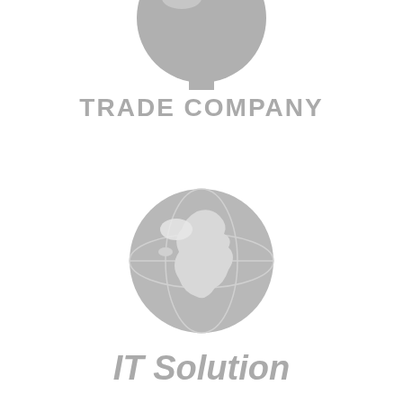[Figure (logo): Partial globe/circle logo shape at top, with text TRADE COMPANY below it in bold gray uppercase letters]
[Figure (logo): Globe logo (earth with continental outlines, Africa visible) in gray, with italic bold gray text IT Solution below it]